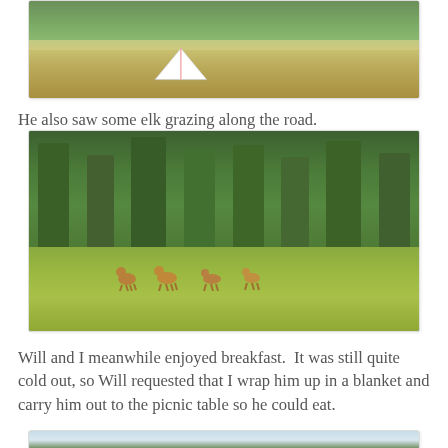[Figure (photo): A white camping tent in a grassy field with trees and what appears to be animals in the background.]
He also saw some elk grazing along the road.
[Figure (photo): A meadow with several elk grazing in front of a dense forest of tall evergreen trees.]
Will and I meanwhile enjoyed breakfast.  It was still quite cold out, so Will requested that I wrap him up in a blanket and carry him out to the picnic table so he could eat.
[Figure (photo): Partial view of a scenic outdoor photo, showing a light blue sky and tree line at the bottom.]